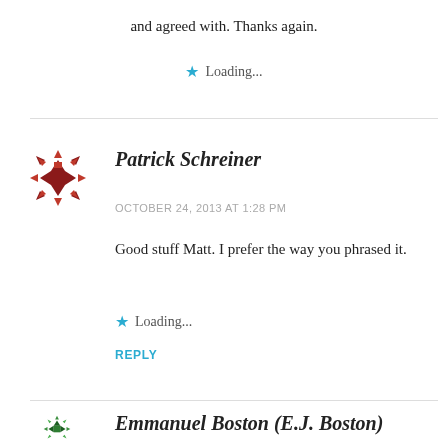and agreed with. Thanks again.
★ Loading...
Patrick Schreiner
OCTOBER 24, 2013 AT 1:28 PM
Good stuff Matt. I prefer the way you phrased it.
★ Loading...
REPLY
Emmanuel Boston (E.J. Boston)